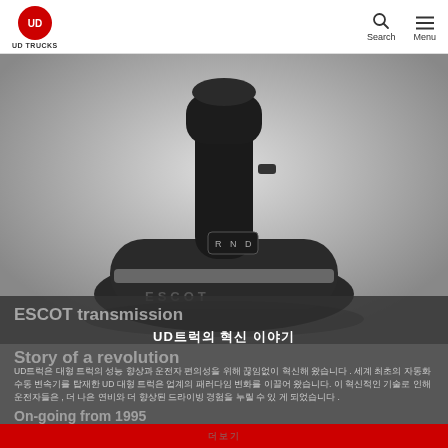UD TRUCKS — Search, Menu
[Figure (photo): Close-up photo of ESCOT automatic transmission gear shifter, black plastic with chrome accents, showing gear position selector labeled R N D, on a white/grey gradient background]
ESCOT transmission
UD트럭의 혁신 이야기
Story of a revolution
UD트럭은 대형 트럭의 성능 향상과 운전자 편의성을 위해 끊임없이 혁신해 왔습니다 . 세계 최초의 자동화 수동 변속기를 탑재한 UD 대형 트럭은 업계의 패러다임 변화를 이끌어 왔습니다. 이 혁신적인 기술로 인해 운전자들은 , 더 나은 연비와 더 향상된 드라이빙 경험을 누릴 수 있 게 되었습니다 .
On-going from 1995
더보기